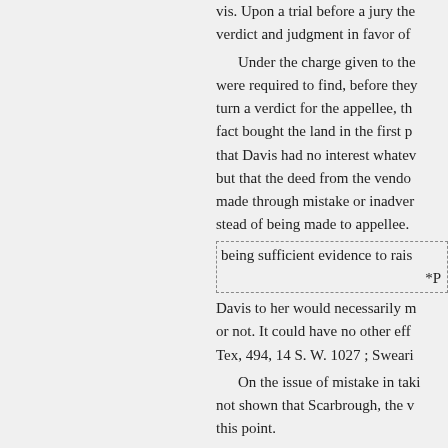vis. Upon a trial before a jury the verdict and judgment in favor of [appellee].
Under the charge given to the [jury] were required to find, before they [could] turn a verdict for the appellee, that [she in] fact bought the land in the first p[lace,] that Davis had no interest whatev[er,] but that the deed from the vendo[r was] made through mistake or inadver[tence] stead of being made to appellee.
being sufficient evidence to rais[e...]
*P[...]
Davis to her would necessarily m[atter] or not. It could have no other effe[ct.] Tex, 494, 14 S. W. 1027 ; Sweari[ngen...]
On the issue of mistake in taki[ng] not shown that Scarbrough, the v[endor,] this point.
We find no error in any of the s[ubmitted charges.]